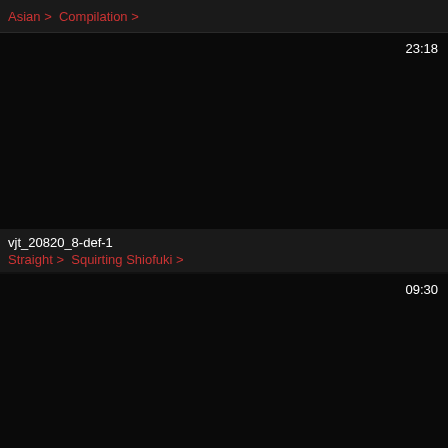Asian > Compilation >
[Figure (screenshot): Dark/black video thumbnail with timestamp 23:18 in top right corner]
vjt_20820_8-def-1
Straight > Squirting Shiofuki >
[Figure (screenshot): Dark/black video thumbnail with timestamp 09:30 in top right corner]